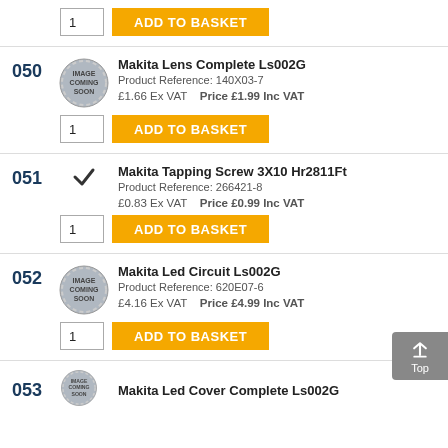[Figure (other): Quantity box with value 1 and ADD TO BASKET button at top of page]
050
[Figure (other): IMAGE COMING SOON badge for product 050]
Makita Lens Complete Ls002G
Product Reference: 140X03-7
£1.66 Ex VAT   Price £1.99 Inc VAT
[Figure (other): Quantity box with value 1 and ADD TO BASKET button for product 050]
051
[Figure (other): Small checkmark icon for product 051]
Makita Tapping Screw 3X10 Hr2811Ft
Product Reference: 266421-8
£0.83 Ex VAT   Price £0.99 Inc VAT
[Figure (other): Quantity box with value 1 and ADD TO BASKET button for product 051]
052
[Figure (other): IMAGE COMING SOON badge for product 052]
Makita Led Circuit Ls002G
Product Reference: 620E07-6
£4.16 Ex VAT   Price £4.99 Inc VAT
[Figure (other): Quantity box with value 1 and ADD TO BASKET button for product 052]
Makita Led Cover Complete Ls002G (partial)